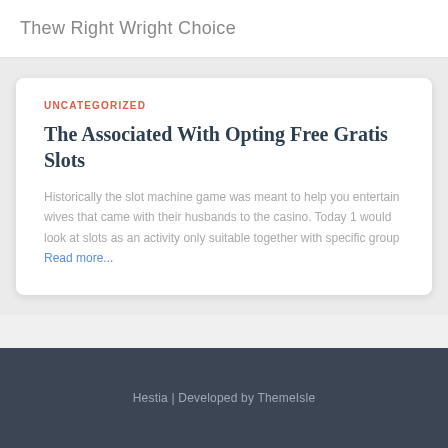Thew Right Wright Choice
UNCATEGORIZED
The Associated With Opting Free Gratis Slots
Historically the slot machine game was meant to help you entertain wives that came with their husbands to the casino. Today 1 would look at slots as an activity only suitable together with specific group Read more...
Hestia | Developed by ThemeIsle